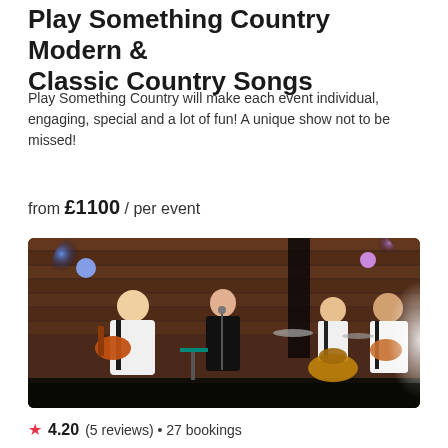Play Something Country Modern & Classic Country Songs
Play Something Country will make each event individual, engaging, special and a lot of fun! A unique show not to be missed!
from £1100 / per event
[Figure (photo): A country band performing live in a rustic brick venue with atmospheric lighting. A female vocalist in black dress at a microphone, flanked by two male guitarists and a drummer, with blue stage lights and warm amber brick walls visible.]
4.20 (5 reviews) • 27 bookings